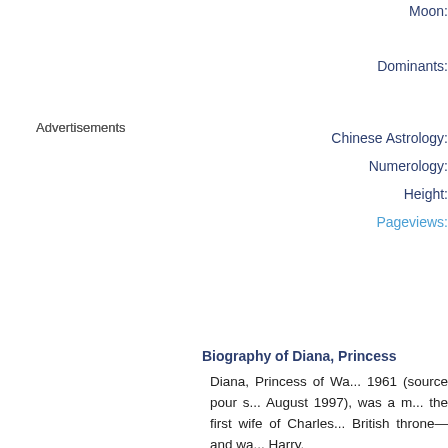Advertisements
Moon:
Dominants:
Chinese Astrology:
Numerology:
Height:
Pageviews:
Biography of Diana, Princess
Diana, Princess of Wa... 1961 (source pour s... August 1997), was a m... the first wife of Charles... British throne—and wa... Harry.
George Clooney
Display his detailed horosc...
Add to favourites (1,020
Born:
In: